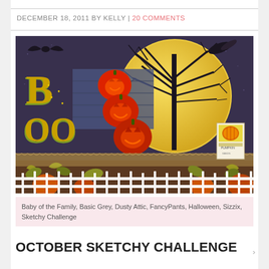DECEMBER 18, 2011 BY KELLY | 20 COMMENTS
[Figure (photo): Halloween scrapbook layout featuring 'BOO' letters in gold gothic font, three glowing jack-o-lantern pumpkins, a large yellow moon with bare tree silhouettes, a bat, white picket fence, autumn leaves, small pumpkins, and a pumpkin seed packet on a dark purple background.]
Baby of the Family, Basic Grey, Dusty Attic, FancyPants, Halloween, Sizzix, Sketchy Challenge
OCTOBER SKETCHY CHALLENGE